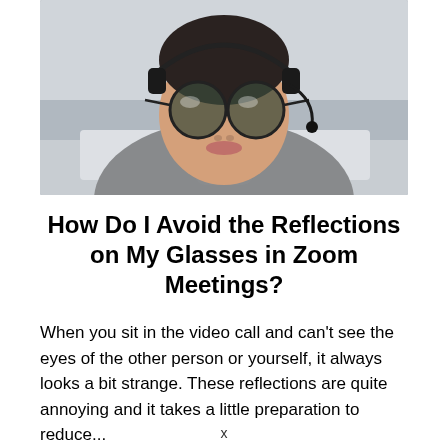[Figure (photo): A woman wearing round tinted glasses and a headset microphone, dressed in a grey turtleneck sweater, sitting in front of a laptop computer. The photo is cropped to show her from shoulders up, mid-face.]
How Do I Avoid the Reflections on My Glasses in Zoom Meetings?
When you sit in the video call and can't see the eyes of the other person or yourself, it always looks a bit strange. These reflections are quite annoying and it takes a little preparation to reduce...
x